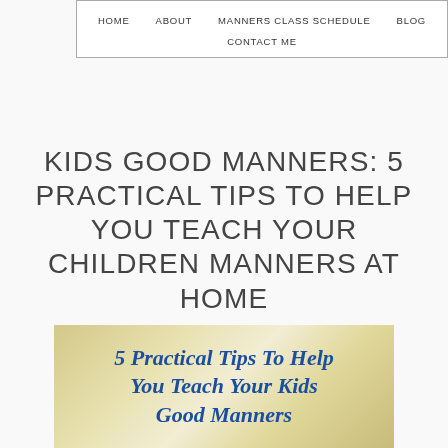HOME   ABOUT   MANNERS CLASS SCHEDULE   BLOG   CONTACT ME
KIDS GOOD MANNERS: 5 PRACTICAL TIPS TO HELP YOU TEACH YOUR CHILDREN MANNERS AT HOME
[Figure (illustration): Decorative image with blue italic text reading '5 Practical Tips To Help You Teach Your Kids Good Manners' on a yellowish floral background]